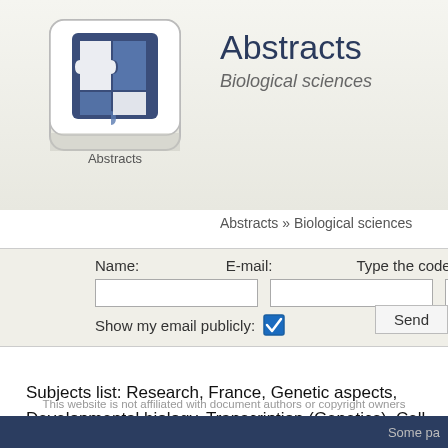[Figure (logo): Abstracts website logo: a keyboard-like button with puzzle pieces and text 'Abstracts']
Abstracts
Biological sciences
Abstracts » Biological sciences
Name:  E-mail:  Type the code sho[wn]  Show my email publicly: [checkbox checked]  Send
Subjects list: Research, France, Genetic aspects, Developmental biol[ogy], Transcription (Genetics), Cell differentiation, Cytogenetics, Drosoph[ila]
This website is not affiliated with document authors or copyright owners
Some pa[ge]